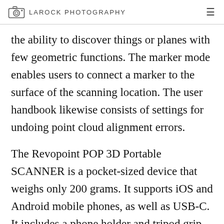LAROCK PHOTOGRAPHY
the ability to discover things or planes with few geometric functions. The marker mode enables users to connect a marker to the surface of the scanning location. The user handbook likewise consists of settings for undoing point cloud alignment errors.
The Revopoint POP 3D Portable SCANNER is a pocket-sized device that weighs only 200 grams. It supports iOS and Android mobile phones, as well as USB-C. It includes a phone holder and tripod grip for easy and